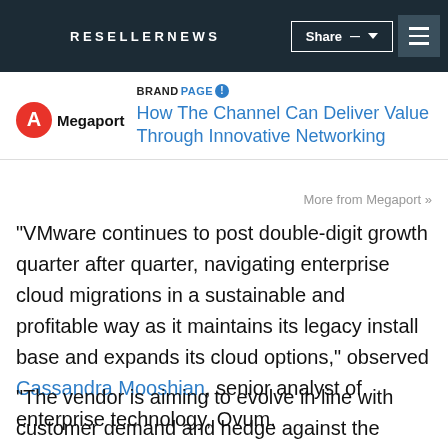RESELLERNEWS
[Figure (logo): Megaport logo - red circle with A symbol and Megaport text]
How The Channel Can Deliver Value Through Innovative Networking
More from Megaport »
“VMware continues to post double-digit growth quarter after quarter, navigating enterprise cloud migrations in a sustainable and profitable way as it maintains its legacy install base and expands its cloud options,” observed Cassandra Mooshian, senior analyst of enterprise technology, Ovum.
“The vendor is aiming to evolve in line with customer demand and hedge against the financial impact of declining demand for legacy IT solutions by expanding its cloud-native portfolio and embracing Kubernetes.”